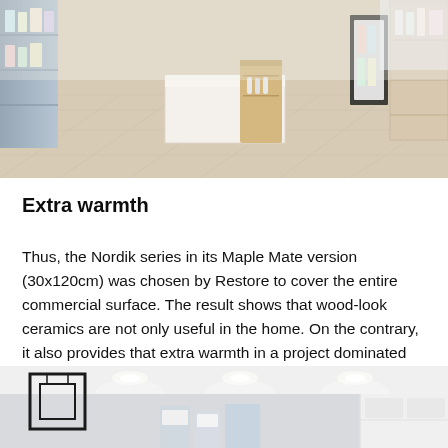[Figure (photo): Interior of a pharmacy or beauty store showing light wood-look ceramic tile flooring (Nordik series, Maple Mate, 30x120cm), white furniture and display counters, shelving units with products on the left and right walls.]
Extra warmth
Thus, the Nordik series in its Maple Mate version (30x120cm) was chosen by Restore to cover the entire commercial surface. The result shows that wood-look ceramics are not only useful in the home. On the contrary, it also provides that extra warmth in a project dominated by the white tones of the furniture.
[Figure (photo): Interior of the same store from a different angle, showing ceiling recessed spotlights, white cabinetry, and a black geometric frame/display element in the foreground.]